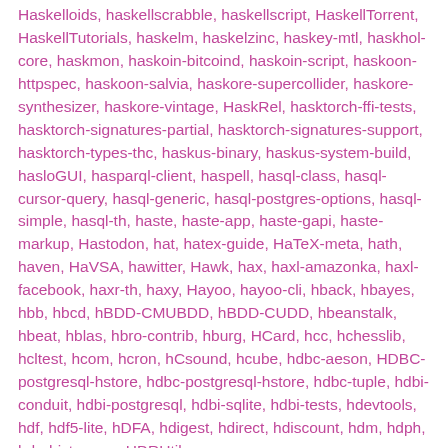Haskelloids, haskellscrabble, haskellscript, HaskellTorrent, HaskellTutorials, haskelm, haskelzinc, haskey-mtl, haskhol-core, haskmon, haskoin-bitcoind, haskoin-script, haskoon-httpspec, haskoon-salvia, haskore-supercollider, haskore-synthesizer, haskore-vintage, HaskRel, hasktorch-ffi-tests, hasktorch-signatures-partial, hasktorch-signatures-support, hasktorch-types-thc, haskus-binary, haskus-system-build, hasloGUI, hasparql-client, haspell, hasql-class, hasql-cursor-query, hasql-generic, hasql-postgres-options, hasql-simple, hasql-th, haste, haste-app, haste-gapi, haste-markup, Hastodon, hat, hatex-guide, HaTeX-meta, hath, haven, HaVSA, hawitter, Hawk, hax, haxl-amazonka, haxl-facebook, haxr-th, haxy, Hayoo, hayoo-cli, hback, hbayes, hbb, hbcd, hBDD-CMUBDD, hBDD-CUDD, hbeanstalk, hbeat, hblas, hbro-contrib, hburg, HCard, hcc, hchesslib, hcltest, hcom, hcron, hCsound, hcube, hdbc-aeson, HDBC-postgresql-hstore, hdbc-postgresql-hstore, hdbc-tuple, hdbi-conduit, hdbi-postgresql, hdbi-sqlite, hdbi-tests, hdevtools, hdf, hdf5-lite, hDFA, hdigest, hdirect, hdiscount, hdm, hdph, hdp-histogram, HDRUtils,